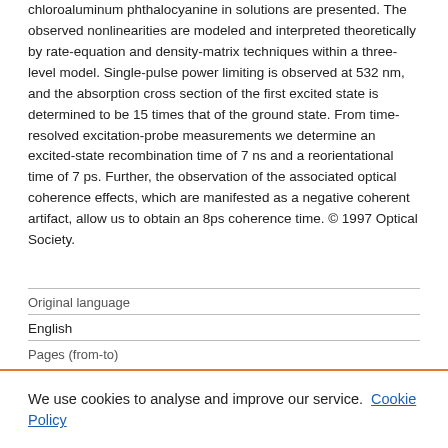chloroaluminum phthalocyanine in solutions are presented. The observed nonlinearities are modeled and interpreted theoretically by rate-equation and density-matrix techniques within a three-level model. Single-pulse power limiting is observed at 532 nm, and the absorption cross section of the first excited state is determined to be 15 times that of the ground state. From time-resolved excitation-probe measurements we determine an excited-state recombination time of 7 ns and a reorientational time of 7 ps. Further, the observation of the associated optical coherence effects, which are manifested as a negative coherent artifact, allow us to obtain an 8ps coherence time. © 1997 Optical Society.
| Original language |
| --- |
| English |
| Pages (from-to) |
We use cookies to analyse and improve our service. Cookie Policy